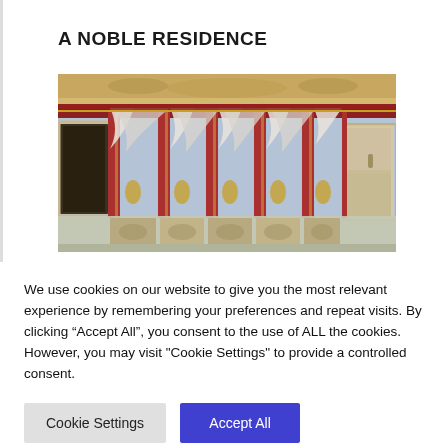A NOBLE RESIDENCE
[Figure (photo): Interior room of a noble residence showing ornate painted walls with red columns, white draped curtains, gold decorative elements, and classical fresco details. Two doorways are visible on the left and right sides.]
We use cookies on our website to give you the most relevant experience by remembering your preferences and repeat visits. By clicking “Accept All”, you consent to the use of ALL the cookies. However, you may visit "Cookie Settings" to provide a controlled consent.